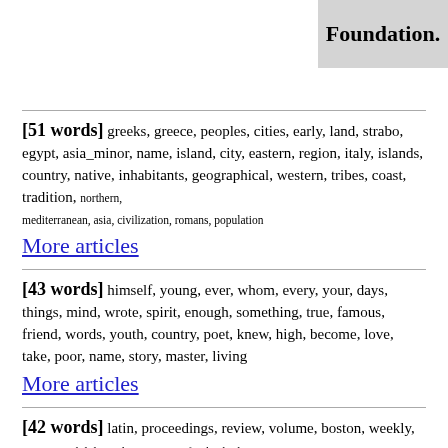Foundation.
[51 words] greeks, greece, peoples, cities, early, land, strabo, egypt, asia_minor, name, island, city, eastern, region, italy, islands, country, native, inhabitants, geographical, western, tribes, coast, tradition, northern, mediterranean, asia, civilization, romans, population
More articles
[43 words] himself, young, ever, whom, every, your, days, things, mind, wrote, spirit, enough, something, true, famous, friend, words, youth, country, poet, knew, high, become, love, take, poor, name, story, master, living
More articles
[42 words] latin, proceedings, review, volume, boston, weekly, american_philological_association, frank, charles, title, classical_philology, henry, translation, books, oldfather, edition, english, publications, philological, moore, gilderleeve, horner, edward